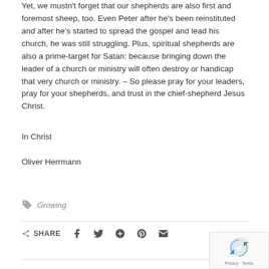Yet, we mustn't forget that our shepherds are also first and foremost sheep, too. Even Peter after he's been reinstituted and after he's started to spread the gospel and lead his church, he was still struggling. Plus, spiritual shepherds are also a prime-target for Satan: because bringing down the leader of a church or ministry will often destroy or handicap that very church or ministry. – So please pray for your leaders, pray for your shepherds, and trust in the chief-shepherd Jesus Christ.
In Christ
Oliver Herrmann
Growing
SHARE
[Figure (other): reCAPTCHA badge with Google logo and Privacy - Terms text]